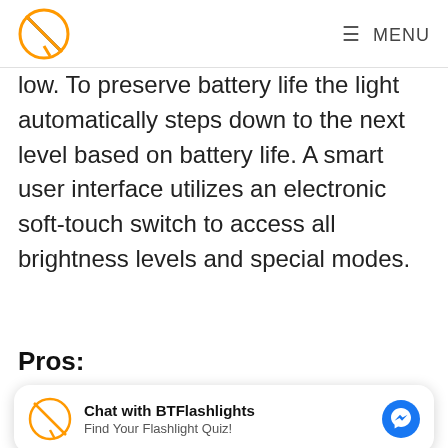MENU
low. To preserve battery life the light automatically steps down to the next level based on battery life. A smart user interface utilizes an electronic soft-touch switch to access all brightness levels and special modes.
Pros:
[Figure (other): Chat widget with BTFlashlights logo, text 'Chat with BTFlashlights / Find Your Flashlight Quiz!' and a Messenger icon button]
Compact